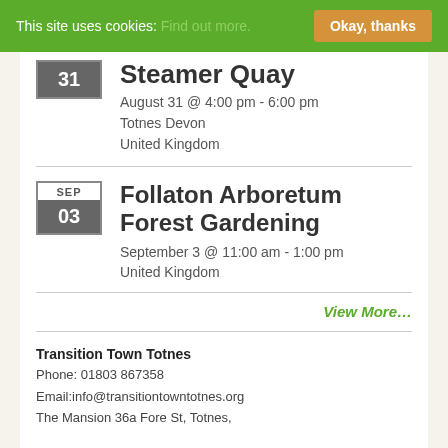This site uses cookies: Find out more. Okay, thanks
Steamer Quay
August 31 @ 4:00 pm - 6:00 pm
Totnes Devon
United Kingdom
Follaton Arboretum Forest Gardening
September 3 @ 11:00 am - 1:00 pm
United Kingdom
View More…
Transition Town Totnes
Phone: 01803 867358
Email:info@transitiontowntotnes.org
The Mansion 36a Fore St, Totnes,